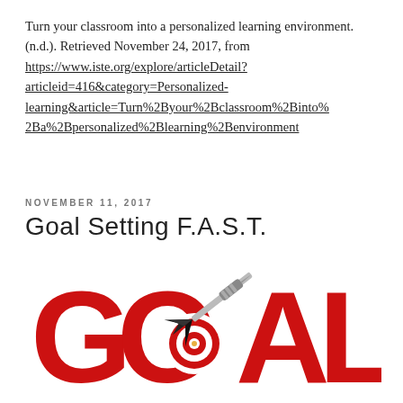Turn your classroom into a personalized learning environment. (n.d.). Retrieved November 24, 2017, from https://www.iste.org/explore/articleDetail?articleid=416&category=Personalized-learning&article=Turn%2Byour%2Bclassroom%2Binto%2Ba%2Bpersonalized%2Blearning%2Benvironment
NOVEMBER 11, 2017
Goal Setting F.A.S.T.
[Figure (illustration): Bold red letters spelling GOAL with the letter O styled as a bullseye target, and a dart hitting the center of the O target.]